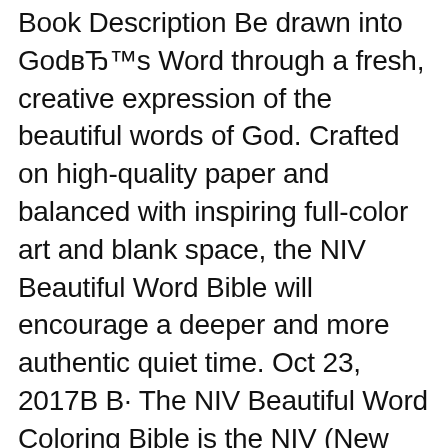Book Description Be drawn into GodвЂ™s Word through a fresh, creative expression of the beautiful words of God. Crafted on high-quality paper and balanced with inspiring full-color art and blank space, the NIV Beautiful Word Bible will encourage a deeper and more authentic quiet time. Oct 23, 2017В В· The NIV Beautiful Word Coloring Bible is the NIV (New International Version) translation. Unfortunately that is the only translation it comes in. I would have prefered the Bible to have come in a Catholic translation (NRSV-CE, NABRE, RSV-CE, etc.), but unfortunately, that wasnвЂ™t an option. It is sold at zondervan.com for $39.99.